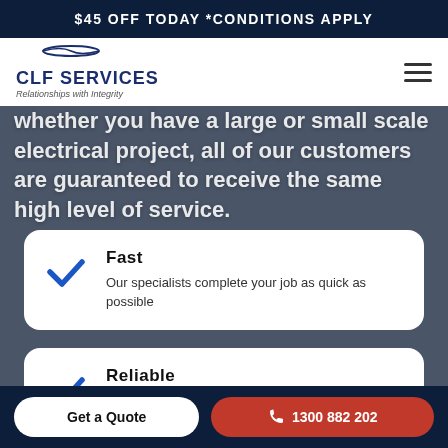$45 OFF TODAY *CONDITIONS APPLY
[Figure (logo): CLF Services logo with tagline 'Relationships with Integrity']
Whether you have a large or small scale electrical project, all of our customers are guaranteed to receive the same high level of service.
Fast — Our specialists complete your job as quick as possible
Reliable — 99.9% Client Satisfaction & 4.9/5 Rating on Google.
Get a Quote | 1300 882 202